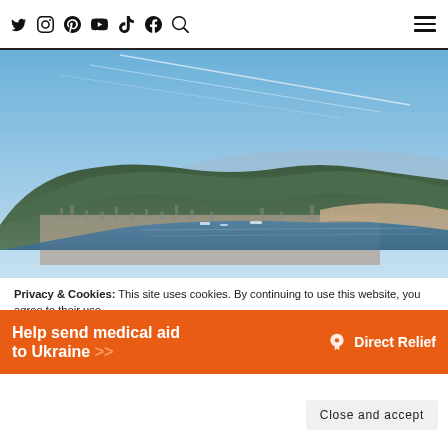Social media icons: Twitter, Instagram, Pinterest, YouTube, TikTok, Facebook, Search, Hamburger menu
[Figure (photo): Aerial panoramic photo of Bergen, Norway, showing the city, harbor, surrounding fjords and green mountains under a blue sky with contrails]
Privacy & Cookies: This site uses cookies. By continuing to use this website, you agree to their use.
To find out more, including how to control cookies, see here: Cookie Policy
[Figure (infographic): Orange advertisement banner: 'Help send medical aid to Ukraine >>' with Direct Relief logo on the right]
Close and accept